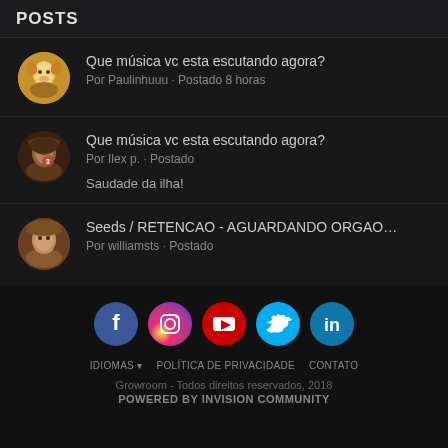POSTS
Que música vc esta escutando agora?
Por Paulinhuuu · Postado 8 horas
Que música vc esta escutando agora?
Por Ilex p. · Postado
Saudade da ilha!
Seeds / RETENCAO - AGUARDANDO ORGAO…
Por williamsts · Postado
[Figure (infographic): Social media icons row: Facebook (blue), Instagram (gradient pink/purple), YouTube (red), Twitter (cyan/blue), LinkedIn (blue-green)]
IDIOMAS ▾   POLÍTICA DE PRIVACIDADE   CONTATO
Growroom - Todos direitos reservados, 2018
POWERED BY INVISION COMMUNITY